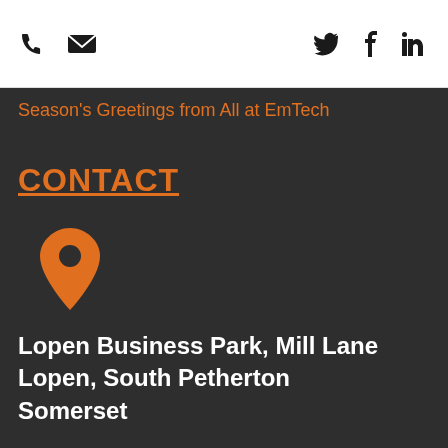[phone icon] [email icon] [twitter icon] [facebook icon] [linkedin icon]
Season's Greetings from All at EmTech
CONTACT
[Figure (illustration): Orange map pin / location marker icon]
Lopen Business Park, Mill Lane
Lopen, South Petherton
Somerset
This website uses cookies to improve your experience. We'll assume you're ok with this, but you can opt-out if you wish.
Accept  Read More  Share This  ✕